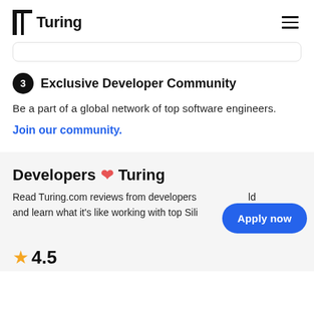Turing
3 Exclusive Developer Community
Be a part of a global network of top software engineers.
Join our community.
Developers ❤ Turing
Read Turing.com reviews from developers and learn what it's like working with top Sili
4.5